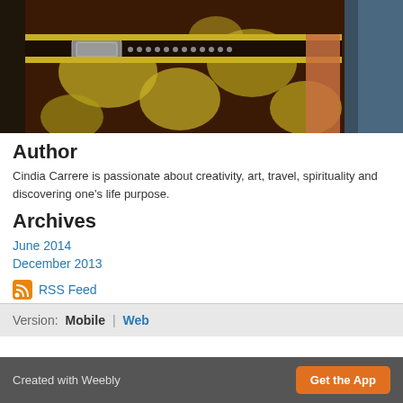[Figure (photo): Cropped photo of a person wearing a brown and yellow patterned dress with a studded black belt, standing near water in sunlight]
Author
Cindia Carrere is passionate about creativity, art, travel, spirituality and discovering one's life purpose.
Archives
June 2014
December 2013
RSS Feed
Version: Mobile | Web
Created with Weebly   Get the App